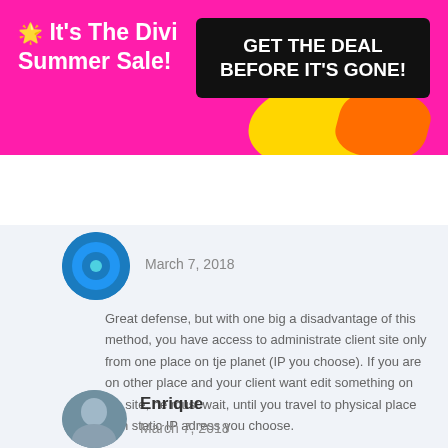[Figure (infographic): Promotional banner with pink background, yellow and orange blobs, text 'It's The Divi Summer Sale!' and black button 'GET THE DEAL BEFORE IT'S GONE!']
[Figure (logo): Elegant Themes logo with asterisk star in pink and hamburger menu icon]
March 7, 2018
Great defense, but with one big a disadvantage of this method, you have access to administrate client site only from one place on tje planet (IP you choose). If you are on other place and your client want edit something on his site, he must wait, until you travel to physical place with static IP adress you choose.
Enrique
March 7, 2018